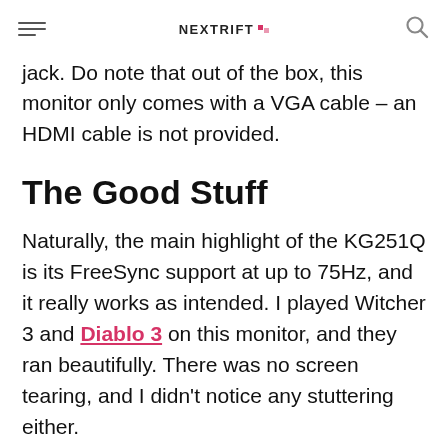NEXTRIFT
jack. Do note that out of the box, this monitor only comes with a VGA cable – an HDMI cable is not provided.
The Good Stuff
Naturally, the main highlight of the KG251Q is its FreeSync support at up to 75Hz, and it really works as intended. I played Witcher 3 and Diablo 3 on this monitor, and they ran beautifully. There was no screen tearing, and I didn't notice any stuttering either.